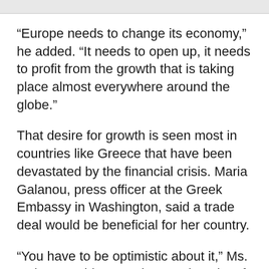“Europe needs to change its economy,” he added. “It needs to open up, it needs to profit from the growth that is taking place almost everywhere around the globe.”
That desire for growth is seen most in countries like Greece that have been devastated by the financial crisis. Maria Galanou, press officer at the Greek Embassy in Washington, said a trade deal would be beneficial for her country.
“You have to be optimistic about it,” Ms. Galanou said. “It’s going to take a lot of negotiations and back and forth, but there is